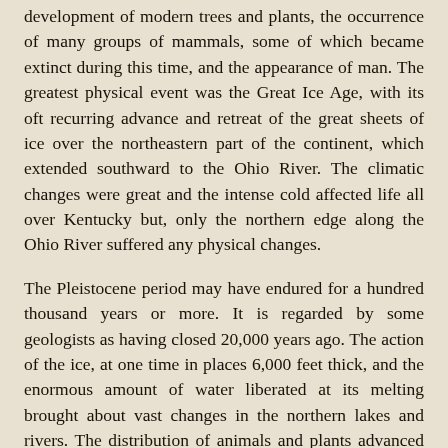development of modern trees and plants, the occurrence of many groups of mammals, some of which became extinct during this time, and the appearance of man. The greatest physical event was the Great Ice Age, with its oft recurring advance and retreat of the great sheets of ice over the northeastern part of the continent, which extended southward to the Ohio River. The climatic changes were great and the intense cold affected life all over Kentucky but, only the northern edge along the Ohio River suffered any physical changes.
The Pleistocene period may have endured for a hundred thousand years or more. It is regarded by some geologists as having closed 20,000 years ago. The action of the ice, at one time in places 6,000 feet thick, and the enormous amount of water liberated at its melting brought about vast changes in the northern lakes and rivers. The distribution of animals and plants advanced and retreated with the fluctuations of the ice sheets.
About 250 species of Pleistocene plants are known in all of North America, less than twenty of which are extinct. Leaves of trees in Pleistocene deposits near Toronto, Canada, show that the trees now living in Kentucky lived at that time far north. This indicates one of the striking changes in climate. Another change is shown by the discovery of musk-ox bones, now an Arctic animal, in regions south of Kentucky. Blue Grass caves near Lexington have given up their significant treasures of Arctic bear and fox as well as other